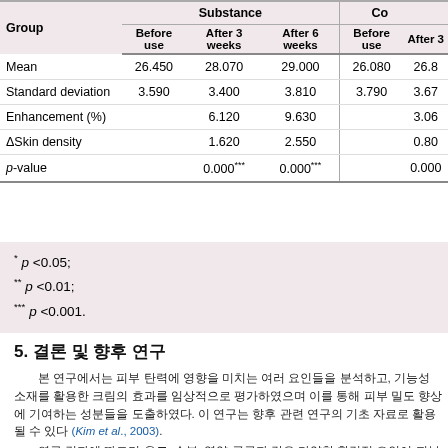| Group | Substance Before use | Substance After 3 weeks | Substance After 6 weeks | Control Before use | Control After 3 |
| --- | --- | --- | --- | --- | --- |
| Mean | 26.450 | 28.070 | 29.000 | 26.080 | 26.8 |
| Standard deviation | 3.590 | 3.400 | 3.810 | 3.790 | 3.67 |
| Enhancement (%) |  | 6.120 | 9.630 |  | 3.06 |
| ΔSkin density |  | 1.620 | 2.550 |  | 0.80 |
| p-value |  | 0.000*** | 0.000*** |  | 0.000 |
* p <0.05; ** p <0.01; *** p <0.001.
5. 결론 및 향후 연구
본 연구에서는 피부 탄력에 영향을 미치는 여러 요인들을 분석하고, 기능성 소재를 활용한 크림의 효과를 임상적으로 평가하였 으며 이를 통해 피부 밀도 향상에 기여하는 성분들을 도출하였 다. 이 연구는 향후 관련 연구의 기초 자료로 활용될 수 있다 (Kim et al., 2003). 연구 결과에 따르면 온도, 수분, 영양 공급과 같은 다양한 환경적 요인이 피부의 구조적 특성에 유의미한 영향을 미치며 이를 바탕으로 새로운 관리법(Geetha et al., 2002). 이를 위해 향후 연구에서는 피부 탄력, 밀도, 수분 함량 등의 지표를 중심으로 더욱 심층적인 연구가